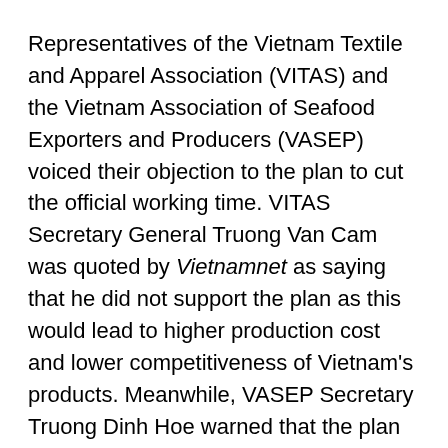Representatives of the Vietnam Textile and Apparel Association (VITAS) and the Vietnam Association of Seafood Exporters and Producers (VASEP) voiced their objection to the plan to cut the official working time. VITAS Secretary General Truong Van Cam was quoted by Vietnamnet as saying that he did not support the plan as this would lead to higher production cost and lower competitiveness of Vietnam's products. Meanwhile, VASEP Secretary Truong Dinh Hoe warned that the plan may affect foreign direct investment attraction because this would make the labor cost in Vietnam higher than other countries, adding that only developed countries apply the regime of 40-44 hours of working per week.
If the weekly working time is reduced from 48 hours to 44 hours as proposed, the number of